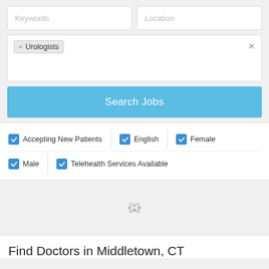[Figure (screenshot): Search form with Keywords and Location input fields, a tag box showing 'Urologists' filter tag with clear button, and a blue 'Search Jobs' button]
Accepting New Patients
English
Female
Male
Telehealth Services Available
[Figure (other): Loading spinner (animated dots) indicating content is loading]
Find Doctors in Middletown, CT